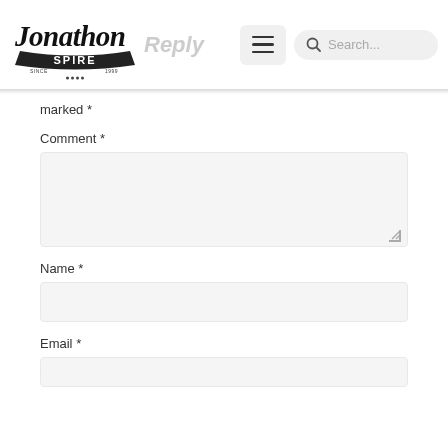[Figure (logo): Jonathon Spire cursive logo with 'SPIRE' banner and 'SINCE 1999' text]
Reply
[Figure (other): Hamburger menu icon button]
[Figure (other): Search bar with magnifying glass icon and 'Search...' placeholder]
marked *
Comment *
[Figure (other): Comment textarea input box (empty, resizable)]
Name *
[Figure (other): Name text input field (empty)]
Email *
[Figure (other): Email text input field (partially visible, empty)]